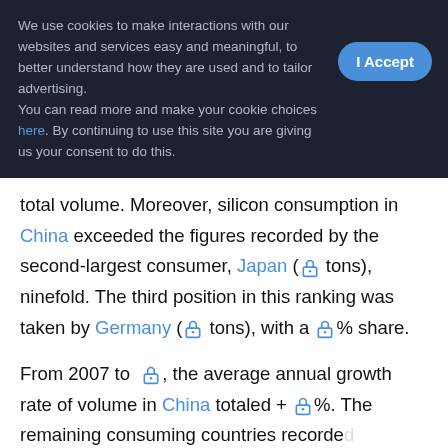We use cookies to make interactions with our websites and services easy and meaningful, to better understand how they are used and to tailor advertising. You can read more and make your cookie choices here. By continuing to use this site you are giving us your consent to do this.
total volume. Moreover, silicon consumption in China exceeded the figures recorded by the second-largest consumer, Japan (🔒 tons), ninefold. The third position in this ranking was taken by Germany (🔒 tons), with a 🔒% share.
From 2007 to 🔒, the average annual growth rate of volume in China totaled + 🔒%. The remaining consuming countries recorded [locked] option growth [locked] ear).
[Figure (other): Sign Up & Unlock button overlay with lock icon]
In value terms, China ($🔒) led the market, alone. The second position in the ranking was taken by Japan ($🔒). It was followed by Germany.